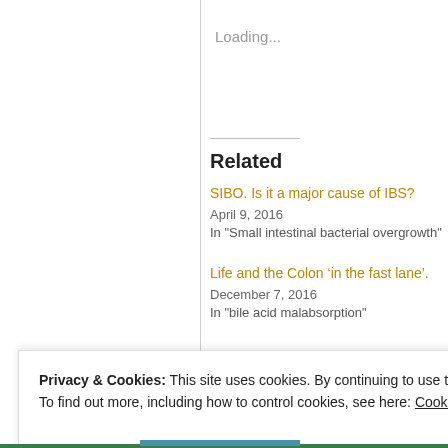Loading...
Related
SIBO. Is it a major cause of IBS?
April 9, 2016
In "Small intestinal bacterial overgrowth"
Life and the Colon ‘in the fast lane’.
December 7, 2016
In "bile acid malabsorption"
Privacy & Cookies: This site uses cookies. By continuing to use this website, you agree to their use.
To find out more, including how to control cookies, see here: Cookie Policy
Close and accept